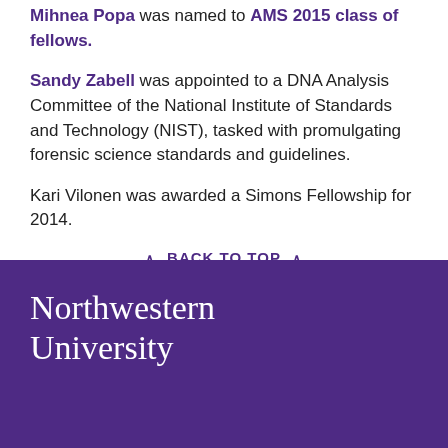Mihnea Popa was named to AMS 2015 class of fellows.
Sandy Zabell was appointed to a DNA Analysis Committee of the National Institute of Standards and Technology (NIST), tasked with promulgating forensic science standards and guidelines.
Kari Vilonen was awarded a Simons Fellowship for 2014.
BACK TO TOP
[Figure (logo): Northwestern University logo in white text on purple background]